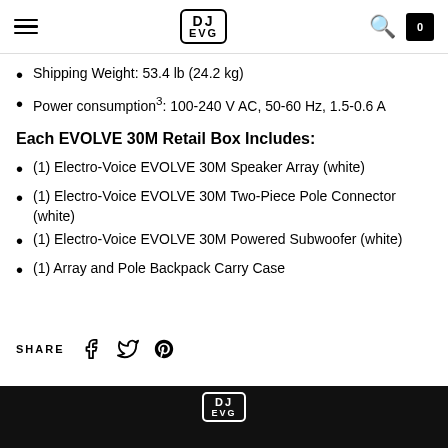DJ EVG logo, search and cart icons
Shipping Weight: 53.4 lb (24.2 kg)
Power consumption3: 100-240 V AC, 50-60 Hz, 1.5-0.6 A
Each EVOLVE 30M Retail Box Includes:
(1) Electro-Voice EVOLVE 30M Speaker Array (white)
(1) Electro-Voice EVOLVE 30M Two-Piece Pole Connector (white)
(1) Electro-Voice EVOLVE 30M Powered Subwoofer (white)
(1) Array and Pole Backpack Carry Case
SHARE
DJ EVG footer logo